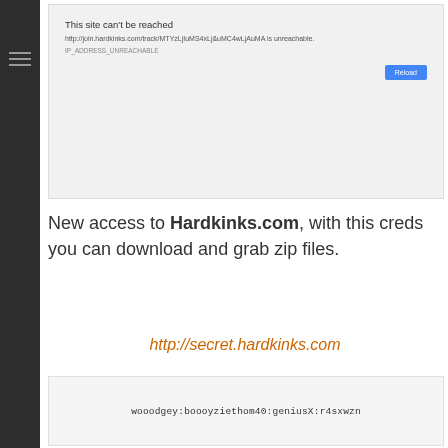[Figure (screenshot): Browser error screenshot showing 'This site can't be reached' for http://join.hardkinks.com/track/MTYzLjIuMS4xLj&uMC4wLjAuMA with error IP_ADDRESS_UNREACHABLE and a Reload button]
New access to Hardkinks.com, with this creds you can download and grab zip files.
http://secret.hardkinks.com
wooodgey:boooyziethom40:geniusX:r4sxwzn